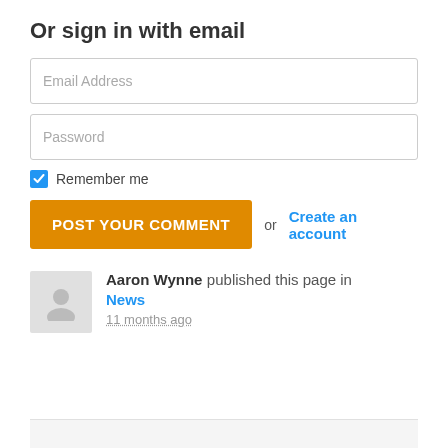Or sign in with email
Email Address
Password
Remember me
POST YOUR COMMENT  or  Create an account
Aaron Wynne published this page in News 11 months ago